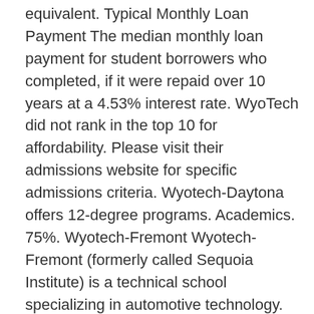equivalent. Typical Monthly Loan Payment The median monthly loan payment for student borrowers who completed, if it were repaid over 10 years at a 4.53% interest rate. WyoTech did not rank in the top 10 for affordability. Please visit their admissions website for specific admissions criteria. Wyotech-Daytona offers 12-degree programs. Academics. 75%. Wyotech-Fremont Wyotech-Fremont (formerly called Sequoia Institute) is a technical school specializing in automotive technology. Its nickname is … Search U.S. It's free to apply for undergraduates. type of institution. and WyoTech has an open admission policy (non-competitive). College Search. Especially because manufacturers require it! Diversity? WyoTech - Laramie Academic Statistics. View their 2020-21 profile to find tuition cost, acceptance rates, reviews and more. Suggestions for Dead State specifically, or just in general? Wyotech-